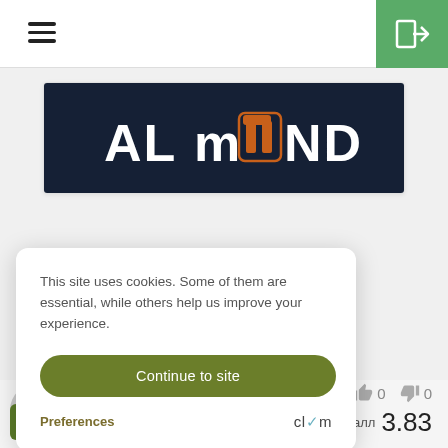Navigation header with hamburger menu and login button
[Figure (screenshot): Almond brand dark banner with white and orange logo text reading ALMOND]
This site uses cookies. Some of them are essential, while others help us improve your experience.
Continue to site
Preferences
clym
0  0
Средний балл  3.83